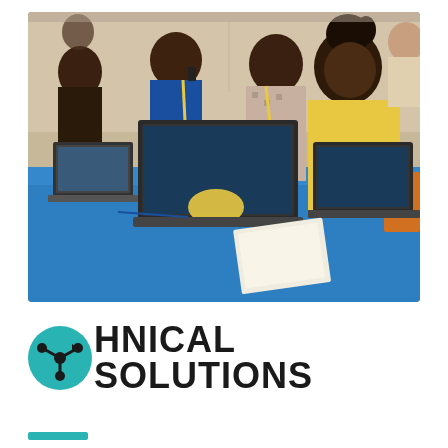[Figure (photo): Several African women sitting at a blue table working on laptops with yellow lanyards around their necks, in what appears to be a computer training or workshop setting.]
TECHNICAL SOLUTIONS